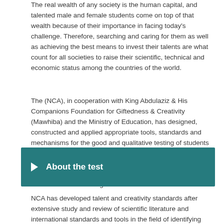The real wealth of any society is the human capital, and talented male and female students come on top of that wealth because of their importance in facing today's challenge. Therefore, searching and caring for them as well as achieving the best means to invest their talents are what count for all societies to raise their scientific, technical and economic status among the countries of the world.
The (NCA), in cooperation with King Abdulaziz & His Companions Foundation for Giftedness & Creativity (Mawhiba) and the Ministry of Education, has designed, constructed and applied appropriate tools, standards and mechanisms for the good and qualitative testing of students who possess the skills and potentials of talent and creativity in the public education classes, from the third grade of primary education to the third grade of secondary education in all schools in the Kingdom.
About the test
NCA has developed talent and creativity standards after extensive study and review of scientific literature and international standards and tools in the field of identifying talented and creative, so as to be compatible with the latest scientific developments and the conditions suitable for the